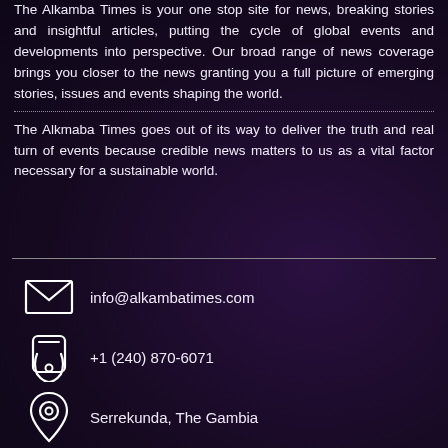The Alkamba Times is your one stop site for news, breaking stories and insightful articles, putting the cycle of global events and developments into perspective. Our broad range of news coverage brings you closer to the news granting you a full picture of emerging stories, issues and events shaping the world.
The Alkmaba Times goes out of its way to deliver the truth and real turn of events because credible news matters to us as a vital factor necessary for a sustainable world.
info@alkambatimes.com
+1 (240) 870-6071
Serrekunda, The Gambia